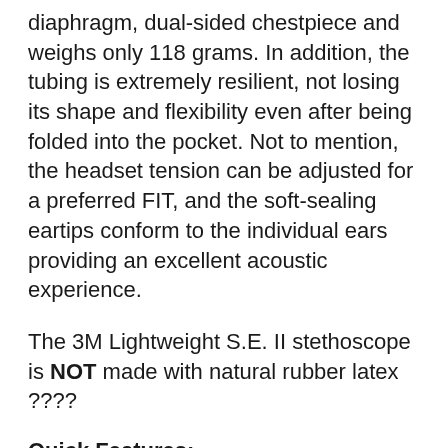diaphragm, dual-sided chestpiece and weighs only 118 grams. In addition, the tubing is extremely resilient, not losing its shape and flexibility even after being folded into the pocket. Not to mention, the headset tension can be adjusted for a preferred FIT, and the soft-sealing eartips conform to the individual ears providing an excellent acoustic experience.
The 3M Lightweight S.E. II stethoscope is NOT made with natural rubber latex ????
Quick Features: